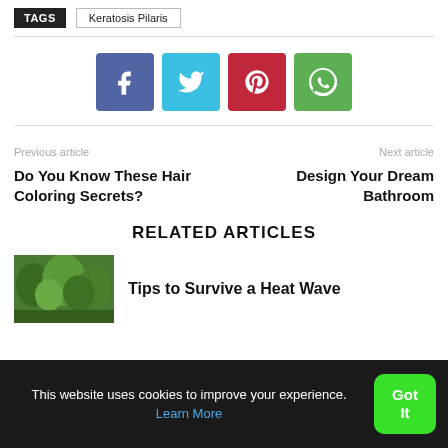TAGS  Keratosis Pilaris
[Figure (infographic): Social sharing buttons: Facebook (blue-purple), Twitter (light blue), Pinterest (red), WhatsApp (green)]
Previous article
Do You Know These Hair Coloring Secrets?
Next article
Design Your Dream Bathroom
RELATED ARTICLES
[Figure (photo): Green tree canopy photo thumbnail]
Tips to Survive a Heat Wave
This website uses cookies to improve your experience. Learn More
Got It